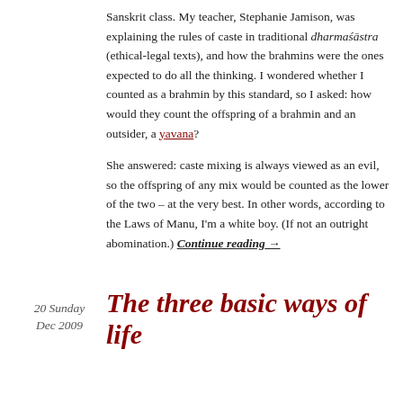Sanskrit class. My teacher, Stephanie Jamison, was explaining the rules of caste in traditional dharmaśāstra (ethical-legal texts), and how the brahmins were the ones expected to do all the thinking. I wondered whether I counted as a brahmin by this standard, so I asked: how would they count the offspring of a brahmin and an outsider, a yavana?
She answered: caste mixing is always viewed as an evil, so the offspring of any mix would be counted as the lower of the two – at the very best. In other words, according to the Laws of Manu, I'm a white boy. (If not an outright abomination.) Continue reading →
20 Sunday Dec 2009
The three basic ways of life